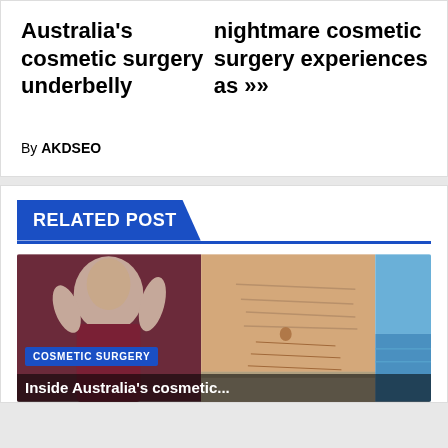Australia's cosmetic surgery underbelly
nightmare cosmetic surgery experiences as »
By AKDSEO
RELATED POST
[Figure (photo): Composite photo: woman in burgundy top on left, close-up of scarred abdomen in center, coastal/ocean background on right, with 'COSMETIC SURGERY' badge and 'Inside Australia's cosmetic...' title overlay]